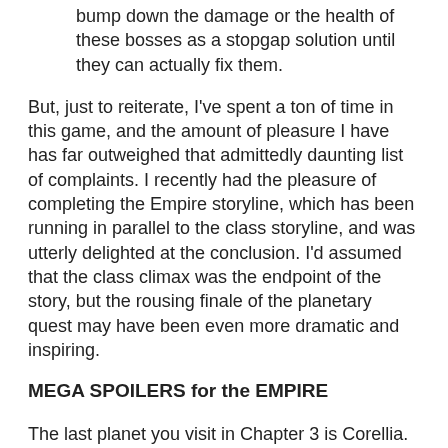bump down the damage or the health of these bosses as a stopgap solution until they can actually fix them.
But, just to reiterate, I've spent a ton of time in this game, and the amount of pleasure I have has far outweighed that admittedly daunting list of complaints. I recently had the pleasure of completing the Empire storyline, which has been running in parallel to the class storyline, and was utterly delighted at the conclusion. I'd assumed that the class climax was the endpoint of the story, but the rousing finale of the planetary quest may have been even more dramatic and inspiring.
MEGA SPOILERS for the EMPIRE
The last planet you visit in Chapter 3 is Corellia. Corellia was one of the founding members of the Republic, and has some of the most advanced infrastructure and technology in the galaxy; their engineers have made major discoveries related to hyperspace travel, and some of the galaxy's largest and